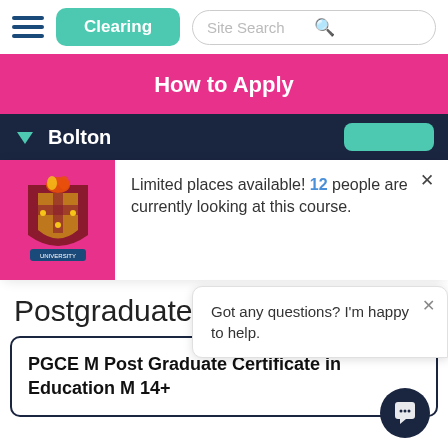Clearing | Site Search
How to Apply
Bolton
[Figure (logo): University of Bolton coat of arms crest on pink background]
Limited places available! 12 people are currently looking at this course.
Postgraduate C
Got any questions? I'm happy to help.
PGCE M Post Graduate Certificate in Education M 14+